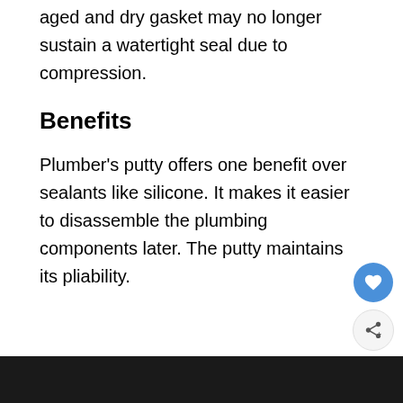aged and dry gasket may no longer sustain a watertight seal due to compression.
Benefits
Plumber's putty offers one benefit over sealants like silicone. It makes it easier to disassemble the plumbing components later. The putty maintains its pliability.